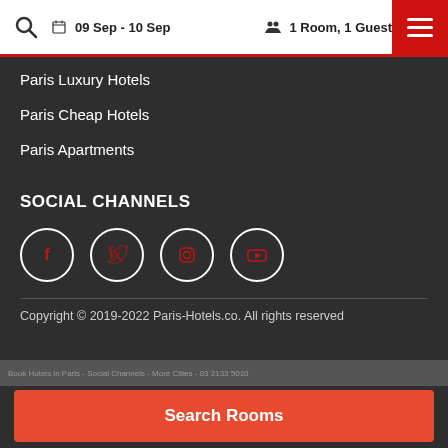09 Sep - 10 Sep  1 Room, 1 Guest
Paris Luxury Hotels
Paris Cheap Hotels
Paris Apartments
SOCIAL CHANNELS
[Figure (infographic): Four social media icons in white-outlined circles: Facebook, Twitter, Instagram, YouTube — all with red icons inside]
Copyright © 2019-2022 Paris-Hotels.co. All rights reserved
Search Rooms